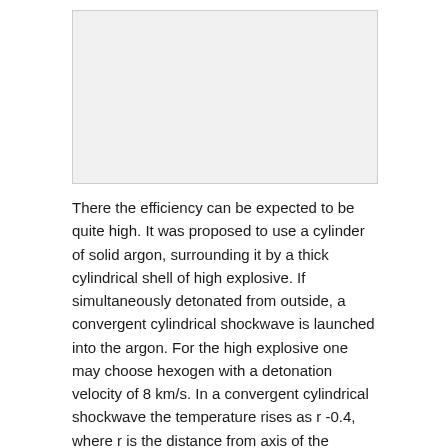[Figure (other): Gray placeholder box representing a figure or diagram on the page]
There the efficiency can be expected to be quite high. It was proposed to use a cylinder of solid argon, surrounding it by a thick cylindrical shell of high explosive. If simultaneously detonated from outside, a convergent cylindrical shockwave is launched into the argon. For the high explosive one may choose hexogen with a detonation velocity of 8 km/s. In a convergent cylindrical shockwave the temperature rises as r -0.4, where r is the distance from axis of the cylindrical argon rod. If the shock is launched from a distance